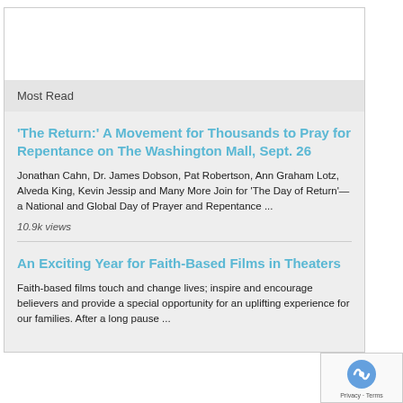Most Read
'The Return:' A Movement for Thousands to Pray for Repentance on The Washington Mall, Sept. 26
Jonathan Cahn, Dr. James Dobson, Pat Robertson, Ann Graham Lotz, Alveda King, Kevin Jessip and Many More Join for 'The Day of Return'—a National and Global Day of Prayer and Repentance ...
10.9k views
An Exciting Year for Faith-Based Films in Theaters
Faith-based films touch and change lives; inspire and encourage believers and provide a special opportunity for an uplifting experience for our families. After a long pause ...